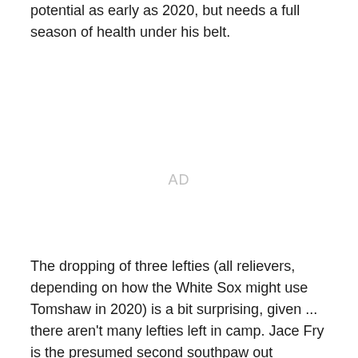potential as early as 2020, but needs a full season of health under his belt.
[Figure (other): AD placeholder / advertisement space]
The dropping of three lefties (all relievers, depending on how the White Sox might use Tomshaw in 2020) is a bit surprising, given ... there aren't many lefties left in camp. Jace Fry is the presumed second southpaw out